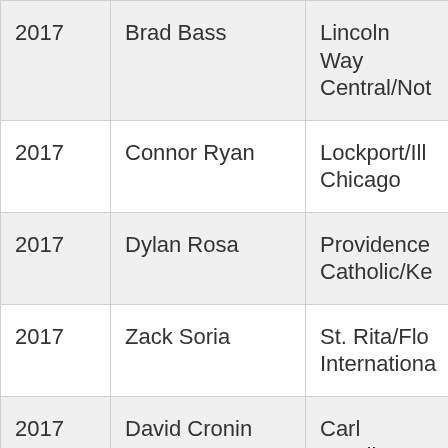| Year | Name | School/Organization |
| --- | --- | --- |
| 2017 | Brad Bass | Lincoln Way Central/Not… |
| 2017 | Connor Ryan | Lockport/Ill Chicago |
| 2017 | Dylan Rosa | Providence Catholic/Ke… |
| 2017 | Zack Soria | St. Rita/Flo… Internationa… |
| 2017 | David Cronin | Carl Sandbu… Chicago |
| 2017 | Bryan Pall | Carl Sandburg/M… |
| 2017 | Christian Taugner | Lake Park/B… |